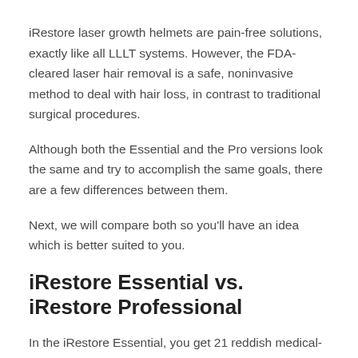iRestore laser growth helmets are pain-free solutions, exactly like all LLLT systems. However, the FDA-cleared laser hair removal is a safe, noninvasive method to deal with hair loss, in contrast to traditional surgical procedures.
Although both the Essential and the Pro versions look the same and try to accomplish the same goals, there are a few differences between them.
Next, we will compare both so you'll have an idea which is better suited to you.
iRestore Essential vs. iRestore Professional
In the iRestore Essential, you get 21 reddish medical-grade lasers and 30 red super-luminescent light-emitting diodes integrated into an outer helmet with a protective inner liner. The entire surface of